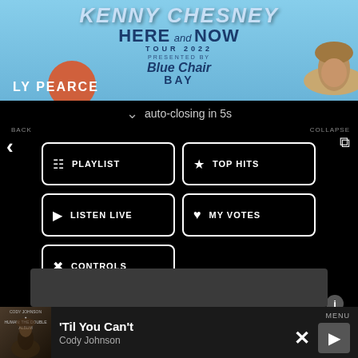[Figure (photo): Kenny Chesney Here and Now Tour 2022 concert banner presented by Blue Chair Bay, with cowboy hat silhouette and Ly Pearce text visible]
auto-closing in 5s
BACK
PLAYLIST
TOP HITS
COLLAPSE
LISTEN LIVE
MY VOTES
CONTROLS
Data opt-out
'Til You Can't
Cody Johnson
MENU